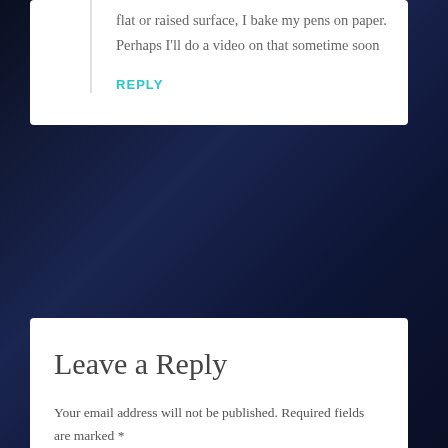flat or raised surface, I bake my pens on paper. Perhaps I'll do a video on that sometime soon
REPLY
Leave a Reply
Your email address will not be published. Required fields are marked *
Comment